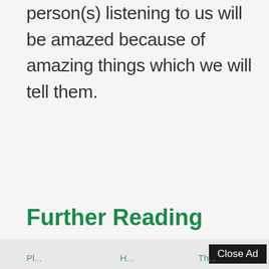person(s) listening to us will be amazed because of amazing things which we will tell them.
Further Reading
Close Ad